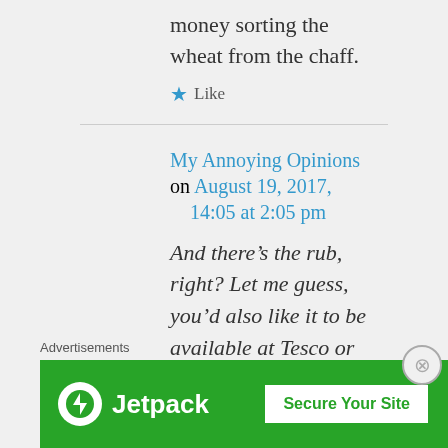money sorting the wheat from the chaff.
★ Like
My Annoying Opinions on August 19, 2017, 14:05 at 2:05 pm
And there's the rub, right? Let me guess, you'd also like it to be available at Tesco or
Advertisements
[Figure (screenshot): Jetpack advertisement banner with green background showing Jetpack logo and 'Secure Your Site' button]